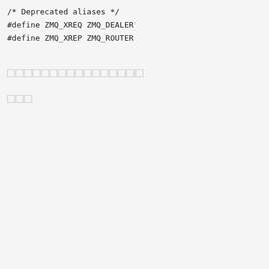/* Deprecated aliases */
#define ZMQ_XREQ ZMQ_DEALER
#define ZMQ_XREP ZMQ_ROUTER
□□□□□□□□□□□□□□□□
□□□